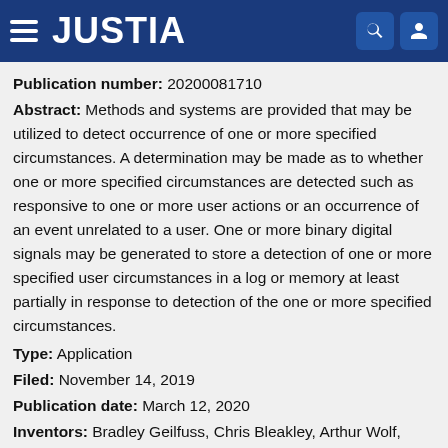JUSTIA
Publication number: 20200081710
Abstract: Methods and systems are provided that may be utilized to detect occurrence of one or more specified circumstances. A determination may be made as to whether one or more specified circumstances are detected such as responsive to one or more user actions or an occurrence of an event unrelated to a user. One or more binary digital signals may be generated to store a detection of one or more specified user circumstances in a log or memory at least partially in response to detection of the one or more specified circumstances.
Type: Application
Filed: November 14, 2019
Publication date: March 12, 2020
Inventors: Bradley Geilfuss, Chris Bleakley, Arthur Wolf, Evan Gamble, Wesley Henderson, Chen Guo, Yajia Yang,